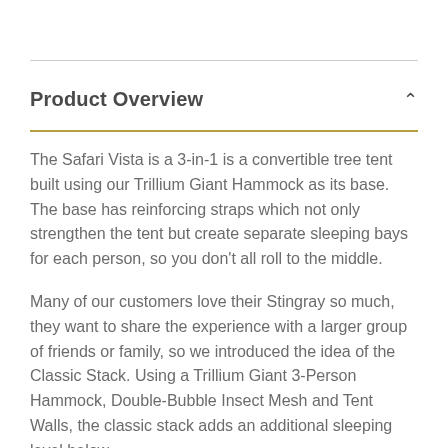Product Overview
The Safari Vista is a 3-in-1 is a convertible tree tent built using our Trillium Giant Hammock as its base. The base has reinforcing straps which not only strengthen the tent but create separate sleeping bays for each person, so you don't all roll to the middle.
Many of our customers love their Stingray so much, they want to share the experience with a larger group of friends or family, so we introduced the idea of the Classic Stack. Using a Trillium Giant 3-Person Hammock, Double-Bubble Insect Mesh and Tent Walls, the classic stack adds an additional sleeping level below